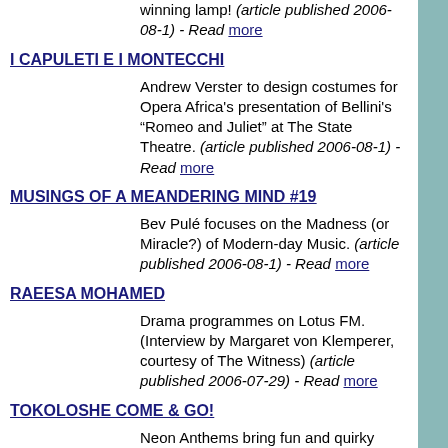winning lamp! (article published 2006-08-1) - Read more
I CAPULETI E I MONTECCHI
Andrew Verster to design costumes for Opera Africa's presentation of Bellini's “Romeo and Juliet” at The State Theatre. (article published 2006-08-1) - Read more
MUSINGS OF A MEANDERING MIND #19
Bev Pulé focuses on the Madness (or Miracle?) of Modern-day Music. (article published 2006-08-1) - Read more
RAEESA MOHAMED
Drama programmes on Lotus FM. (Interview by Margaret von Klemperer, courtesy of The Witness) (article published 2006-07-29) - Read more
TOKOLOSHE COME & GO!
Neon Anthems bring fun and quirky tales of Africa to the Catalina. (article published 2006-07-29) - Read more